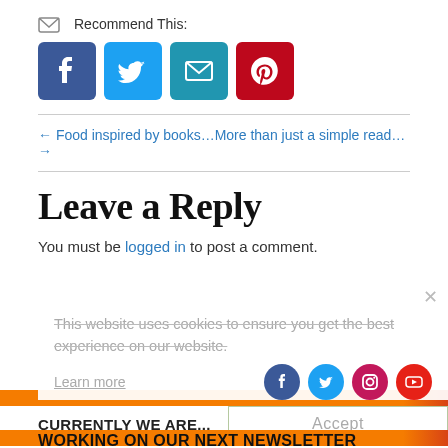Recommend This:
[Figure (infographic): Four social share buttons: Facebook (blue), Twitter (blue), Email (teal), Pinterest (red)]
← Food inspired by books… More than just a simple read… →
Leave a Reply
You must be logged in to post a comment.
This website uses cookies to ensure you get the best experience on our website.
Learn more
[Figure (infographic): Four small circular social icons: Facebook, Twitter, Instagram, YouTube]
CURRENTLY WE ARE...
Accept
WORKING ON OUR NEXT NEWSLETTER